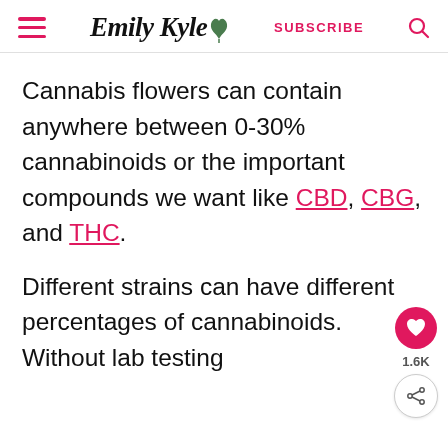Emily Kyle [logo with leaf] SUBSCRIBE [search icon]
Cannabis flowers can contain anywhere between 0-30% cannabinoids or the important compounds we want like CBD, CBG, and THC.
Different strains can have different percentages of cannabinoids. Without lab testing